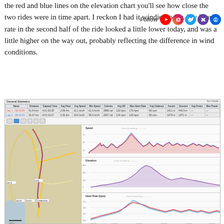the red and blue lines on the elevation chart you'll see how close the two rides were in time apart. I reckon I had it windier today. My heart rate in the second half of the ride looked a little lower today, and was a little higher on the way out, probably reflecting the difference in wind conditions.
[Figure (screenshot): Garmin Connect or similar cycling analytics app screenshot showing: General Statistics table with two laps (Lap 1 and Lap 2) listing distance, elapsed time, avg pace, avg speed, min speed, calories, avg HR, max HR, avg cadence, ascent, descent, avg power, max power. Below the table: left panel shows a route map with road markings near what appears to be a coastal UK area. Right panel shows three stacked charts: Speed (km/h) area chart with red/blue overlapping lines, Elevation (m) area chart showing a hill profile, and Heart Rate (bpm) line chart with red and blue lines.]